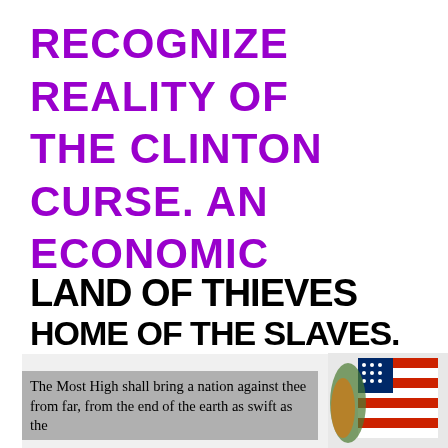RECOGNIZE REALITY OF THE CLINTON CURSE. AN ECONOMIC DISASTER SET IN MOTION
[Figure (illustration): Graphic with bold black text reading 'LAND OF THIEVES HOME OF THE SLAVES.' on white/light background, with a grey box containing italic text 'The Most High shall bring a nation against thee from far, from the end of the earth as swift as the' and a partially visible American flag graphic on the right side.]